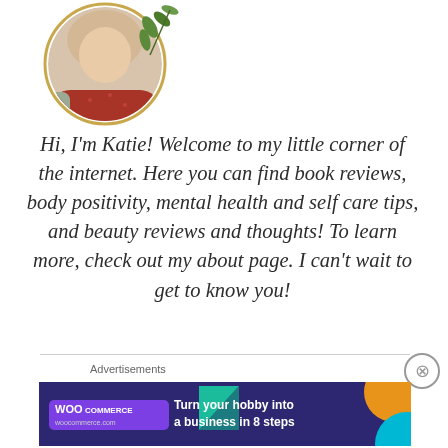[Figure (photo): Circular profile photo of a woman with curly light hair, wearing a gray cardigan over a red patterned top, with a gold circle border and green leaf decoration overlay]
Hi, I'm Katie! Welcome to my little corner of the internet. Here you can find book reviews, body positivity, mental health and self care tips, and beauty reviews and thoughts! To learn more, check out my about page. I can't wait to get to know you!
Advertisements
[Figure (screenshot): WooCommerce advertisement banner: dark purple background with teal triangle and orange/blue circle decorations, WooCommerce logo and text 'Turn your hobby into a business in 8 steps']